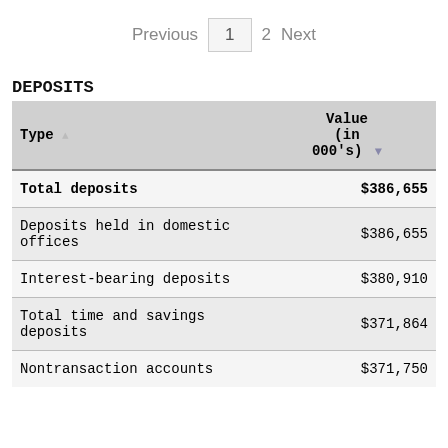Previous  1  2  Next
DEPOSITS
| Type | Value (in 000's) |
| --- | --- |
| Total deposits | $386,655 |
| Deposits held in domestic offices | $386,655 |
| Interest-bearing deposits | $380,910 |
| Total time and savings deposits | $371,864 |
| Nontransaction accounts | $371,750 |